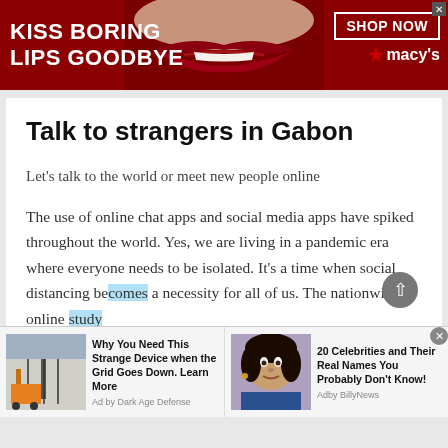[Figure (screenshot): Advertisement banner for Macy's with red background, woman's lips photo, text 'KISS BORING LIPS GOODBYE', 'SHOP NOW' button, and Macy's star logo]
Talk to strangers in Gabon
Let's talk to the world or meet new people online
The use of online chat apps and social media apps have spiked throughout the world. Yes, we are living in a pandemic era where everyone needs to be isolated. It's a time when social distancing becomes a necessity for all of us. The nationwide online study
[Figure (screenshot): Bottom ad strip with two sponsored ads: 'Why You Need This Strange Device when the Grid Goes Down. Learn More' by Dark Age Defense, and '20 Celebrities and Their Real Names You Probably Don't Know!' by Addy BillyNews]